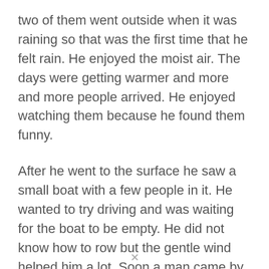two of them went outside when it was raining so that was the first time that he felt rain. He enjoyed the moist air. The days were getting warmer and more and more people arrived. He enjoyed watching them because he found them funny.
After he went to the surface he saw a small boat with a few people in it. He wanted to try driving and was waiting for the boat to be empty. He did not know how to row but the gentle wind helped him a lot. Soon a man came by and demanded him boat back. The water sprite jumped back into the water.